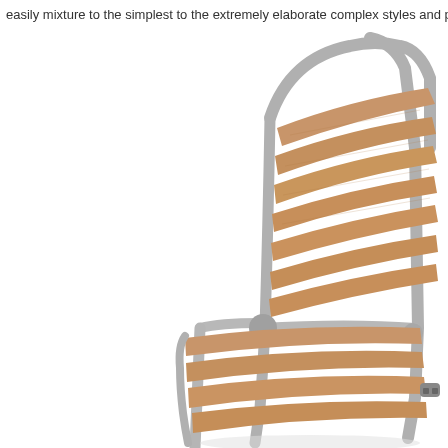easily mixture to the simplest to the extremely elaborate complex styles and patte...
[Figure (photo): Close-up product photo of an outdoor chair with horizontal wooden slats on the backrest and seat, supported by a silver/grey metal tubular frame. The chair is photographed against a white background, showing the upper-right portion of the chair with the backrest and seat visible.]